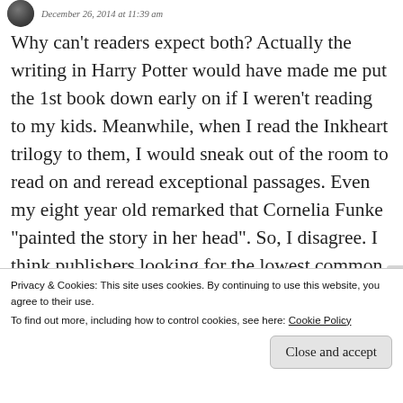December 26, 2014 at 11:39 am
Why can’t readers expect both? Actually the writing in Harry Potter would have made me put the 1st book down early on if I weren’t reading to my kids. Meanwhile, when I read the Inkheart trilogy to them, I would sneak out of the room to read on and reread exceptional passages. Even my eight year old remarked that Cornelia Funke “painted the story in her head”. So, I disagree. I think publishers looking for the lowest common denominator make some faulty assumptions, much
Privacy & Cookies: This site uses cookies. By continuing to use this website, you agree to their use.
To find out more, including how to control cookies, see here: Cookie Policy
Close and accept